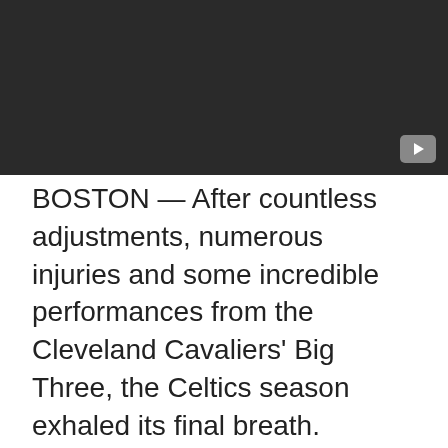[Figure (screenshot): Dark video player thumbnail with a play button icon in the bottom-right corner]
BOSTON — After countless adjustments, numerous injuries and some incredible performances from the Cleveland Cavaliers' Big Three, the Celtics season exhaled its final breath.